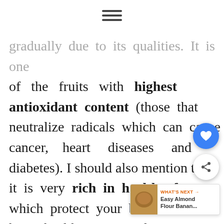≡
gradually due to its qualities. It is one of the fruits with highest antioxidant content (those that neutralize radicals which can cause cancer, heart diseases and diabetes). I should also mention that it is very rich in healthy fats, which protect your brain, skin and heart health. Acai is also a great source of iron, potassium, magnesium, phosphorus and